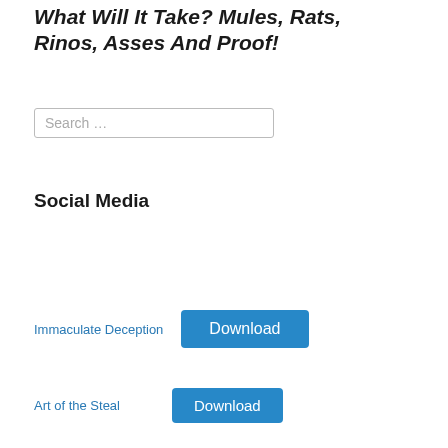What Will It Take? Mules, Rats, Rinos, Asses And Proof!
Search …
Social Media
Immaculate Deception  Download
Art of the Steal  Download